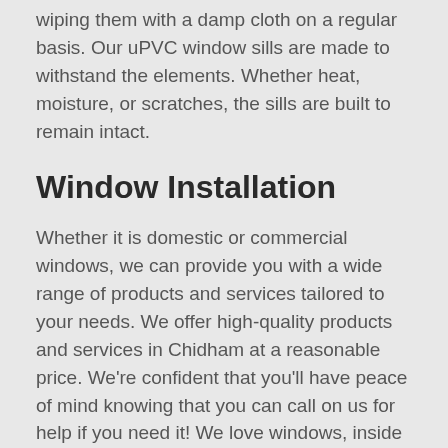wiping them with a damp cloth on a regular basis. Our uPVC window sills are made to withstand the elements. Whether heat, moisture, or scratches, the sills are built to remain intact.
Window Installation
Whether it is domestic or commercial windows, we can provide you with a wide range of products and services tailored to your needs. We offer high-quality products and services in Chidham at a reasonable price. We're confident that you'll have peace of mind knowing that you can call on us for help if you need it! We love windows, inside and out. That's why we are dedicated to helping you make the right choice for your home. Call now on (0) 1273 287 287 to